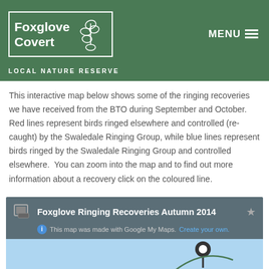[Figure (logo): Foxglove Covert Local Nature Reserve logo with white border on green background, showing plant/foxglove silhouette illustration and text 'Foxglove Covert']
LOCAL NATURE RESERVE
This interactive map below shows some of the ringing recoveries we have received from the BTO during September and October. Red lines represent birds ringed elsewhere and controlled (re-caught) by the Swaledale Ringing Group, while blue lines represent birds ringed by the Swaledale Ringing Group and controlled elsewhere. You can zoom into the map and to find out more information about a recovery click on the coloured line.
[Figure (screenshot): Google My Maps embed header showing 'Foxglove Ringing Recoveries Autumn 2014' title with map icon, star icon, and 'This map was made with Google My Maps. Create your own.' subtitle, followed by a light blue map preview area with a dark map marker pin visible]